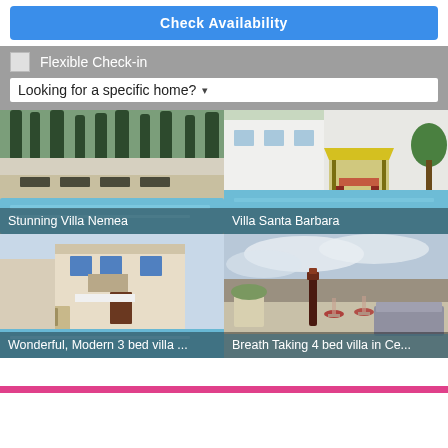Check Availability
Flexible Check-in
Looking for a specific home?
[Figure (photo): Outdoor pool with lounge chairs and tall trees in background]
Stunning Villa Nemea
[Figure (photo): Pool area with yellow gazebo and outdoor seating]
Villa Santa Barbara
[Figure (photo): White Mediterranean villa with outdoor dining area and pool]
Wonderful, Modern 3 bed villa ...
[Figure (photo): Rooftop terrace with wine bottle and glasses, pool in background]
Breath Taking 4 bed villa in Ce...